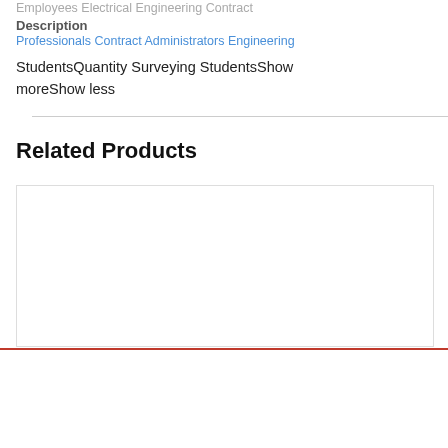Employees Electrical Engineering Contract Description Professionals Contract Administrators Engineering StudentsQuantity Surveying StudentsShow moreShow less
Related Products